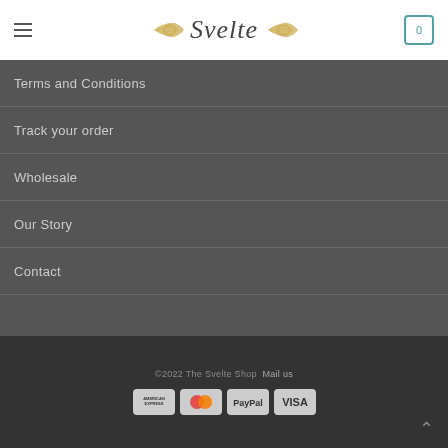[Figure (logo): Svelte shop logo with decorative wings and italic text]
Terms and Conditions
Track your order
Wholesale
Our Story
Contact
©2022 The Svelte Shop  Mail us
[Figure (other): Payment icons: American Express, Mastercard, PayPal, Visa]